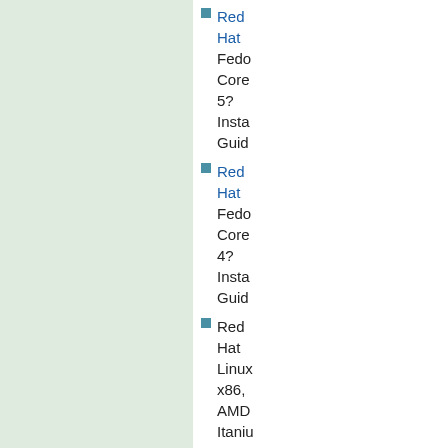Red Hat Fedora Core 5? Installation Guide
Red Hat Fedora Core 4? Installation Guide
Red Hat Linux x86, AMD Itanium Installation Guide [en] [fr]